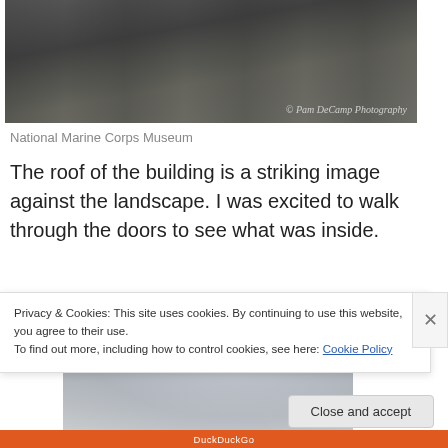[Figure (photo): Aerial or ground-level view of road/pavement with lanes, dark asphalt tones. Photo credit: © Pam DeCamp Photography]
National Marine Corps Museum
The roof of the building is a striking image against the landscape. I was excited to walk through the doors to see what was inside.
[Figure (photo): Overcast sky with grey clouds, partial view of building exterior]
Privacy & Cookies: This site uses cookies. By continuing to use this website, you agree to their use.
To find out more, including how to control cookies, see here: Cookie Policy
Close and accept
DuckDuckGo